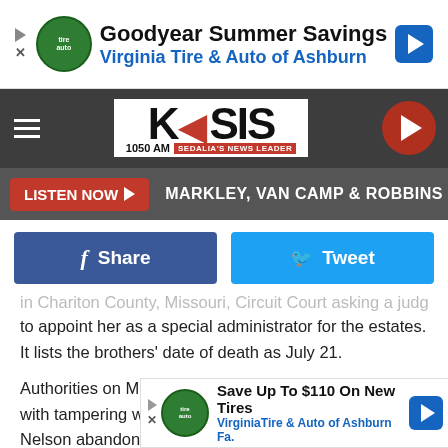[Figure (screenshot): Top advertisement banner: Goodyear Summer Savings, Virginia Tire & Auto of Ashburn]
[Figure (logo): KSIS 1050 AM Sedalia's News Leader logo with navigation header]
LISTEN NOW ▶  MARKLEY, VAN CAMP & ROBBINS
[Figure (screenshot): Share and Tweet social media buttons]
in Chariton County, Missouri, Circuit Court asking a judge to appoint her as a special administrator for the estates. It lists the brothers' date of death as July 21.
Authorities on Monday charged Nelson, 25, of Braymer, with tampering with a vehicle. Charging documents say Nelson abandoned the Diemel brothers' rental truck in a commuter parking lot near Holt after they visited the farm near Braymer. GPS da... n and then le...
[Figure (screenshot): Bottom advertisement overlay: Save Up To $110 On New Tires, VirginiaTire & Auto of Ashburn Fa.]